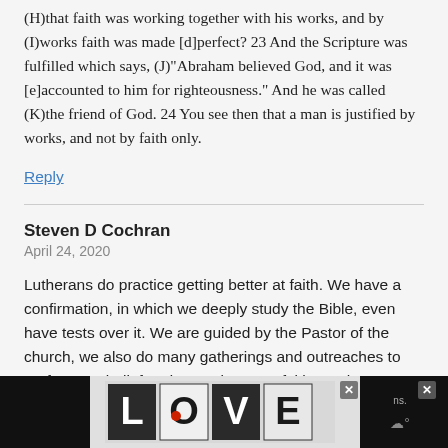(H)that faith was working together with his works, and by (I)works faith was made [d]perfect? 23 And the Scripture was fulfilled which says, (J)“Abraham believed God, and it was [e]accounted to him for righteousness.” And he was called (K)the friend of God. 24 You see then that a man is justified by works, and not by faith only.
Reply
Steven D Cochran
April 24, 2020
Lutherans do practice getting better at faith. We have a confirmation, in which we deeply study the Bible, even have tests over it. We are guided by the Pastor of the church, we also do many gatherings and outreaches to profess our belief and to get better at faith. We have
[Figure (screenshot): Advertisement banner at the bottom with LOVE graphic illustration on dark background with close buttons]